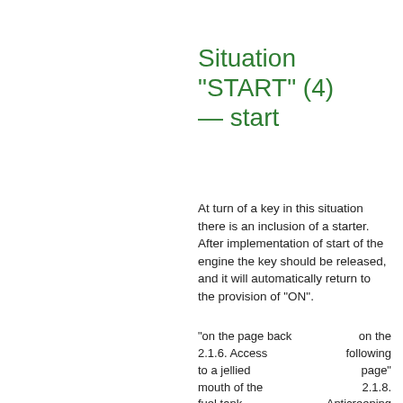Situation "START" (4) — start
At turn of a key in this situation there is an inclusion of a starter. After implementation of start of the engine the key should be released, and it will automatically return to the provision of "ON".
| "on the page back 2.1.6. Access to a jellied mouth of the fuel tank | on the following page" 2.1.8. Anticreeping system |